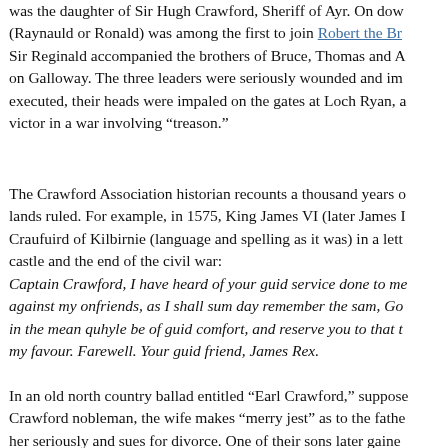was the daughter of Sir Hugh Crawford, Sheriff of Ayr. On dow (Raynauld or Ronald) was among the first to join Robert the Br Sir Reginald accompanied the brothers of Bruce, Thomas and A on Galloway. The three leaders were seriously wounded and im executed, their heads were impaled on the gates at Loch Ryan, a victor in a war involving “treason.”
The Crawford Association historian recounts a thousand years o lands ruled. For example, in 1575, King James VI (later James I Craufuird of Kilbirnie (language and spelling as it was) in a lett castle and the end of the civil war: Captain Crawford, I have heard of your guid service done to me against my onfriends, as I shall sum day remember the sam, Go in the mean quhyle be of guid comfort, and reserve you to that t my favour. Farewell. Your guid friend, James Rex.
In an old north country ballad entitled “Earl Crawford,” suppose Crawford nobleman, the wife makes “merry jest” as to the fathe her seriously and sues for divorce. One of their sons later gaine